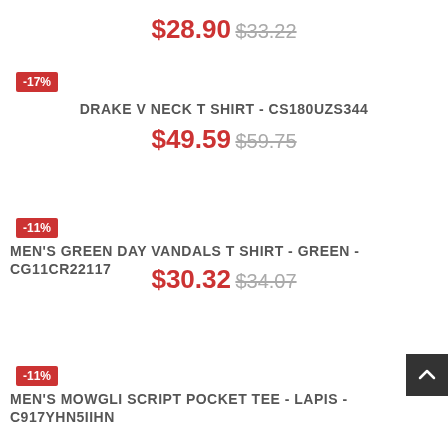$28.90  $33.22
-17%
DRAKE V NECK T SHIRT - CS180UZS344
$49.59  $59.75
-11%
MEN'S GREEN DAY VANDALS T SHIRT - GREEN - CG11CR22117
$30.32  $34.07
-11%
MEN'S MOWGLI SCRIPT POCKET TEE - LAPIS - C917YHN5IIHN